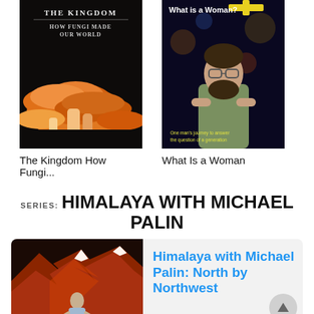[Figure (photo): Book cover: The Kingdom How Fungi Made Our World - dark background with orange mushrooms]
The Kingdom How Fungi...
[Figure (photo): Documentary cover: What Is a Woman? - man with glasses standing in Times Square, yellow plus sign]
What Is a Woman
SERIES: HIMALAYA WITH MICHAEL PALIN
[Figure (photo): Series card image: mountain at sunset with man standing in foreground]
Himalaya with Michael Palin: North by Northwest